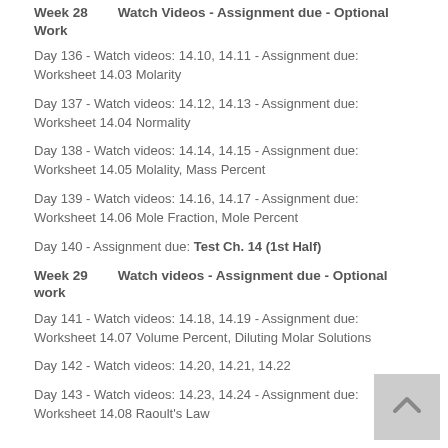Week 28        Watch Videos - Assignment due - Optional Work
Day 136 - Watch videos: 14.10, 14.11 - Assignment due: Worksheet 14.03 Molarity
Day 137 - Watch videos: 14.12, 14.13 - Assignment due: Worksheet 14.04 Normality
Day 138 - Watch videos: 14.14, 14.15 - Assignment due: Worksheet 14.05 Molality, Mass Percent
Day 139 - Watch videos: 14.16, 14.17 - Assignment due: Worksheet 14.06 Mole Fraction, Mole Percent
Day 140 - Assignment due: Test Ch. 14 (1st Half)
Week 29        Watch videos - Assignment due - Optional work
Day 141 - Watch videos: 14.18, 14.19 - Assignment due: Worksheet 14.07 Volume Percent, Diluting Molar Solutions
Day 142 - Watch videos: 14.20, 14.21, 14.22
Day 143 - Watch videos: 14.23, 14.24 - Assignment due: Worksheet 14.08 Raoult's Law